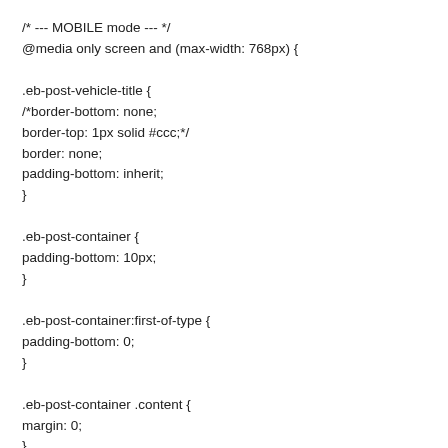/* --- MOBILE mode --- */
@media only screen and (max-width: 768px) {

.eb-post-vehicle-title {
/*border-bottom: none;
border-top: 1px solid #ccc;*/
border: none;
padding-bottom: inherit;
}

.eb-post-container {
padding-bottom: 10px;
}

.eb-post-container:first-of-type {
padding-bottom: 0;
}

.eb-post-container .content {
margin: 0;
}

.eb-post-logo {
text-align: center;
}

.eb-post-phonetracking {